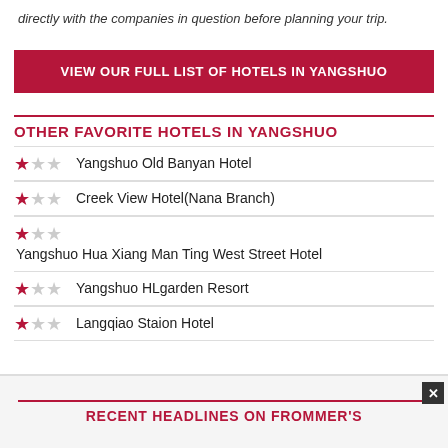directly with the companies in question before planning your trip.
VIEW OUR FULL LIST OF HOTELS IN YANGSHUO
OTHER FAVORITE HOTELS IN YANGSHUO
Yangshuo Old Banyan Hotel
Creek View Hotel(Nana Branch)
Yangshuo Hua Xiang Man Ting West Street Hotel
Yangshuo HLgarden Resort
Langqiao Staion Hotel
RECENT HEADLINES ON FROMMER'S